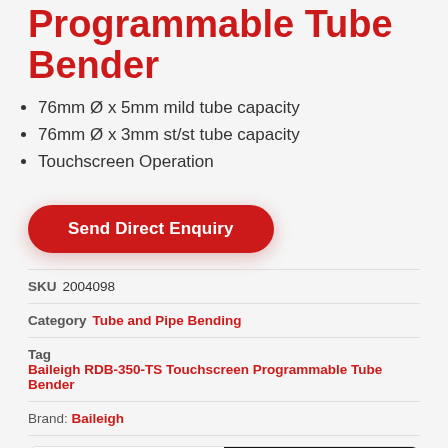Programmable Tube Bender
76mm Ø x 5mm mild tube capacity
76mm Ø x 3mm st/st tube capacity
Touchscreen Operation
Send Direct Enquiry
SKU 2004098
Category Tube and Pipe Bending
Tag Baileigh RDB-350-TS Touchscreen Programmable Tube Bender
Brand: Baileigh
Description | Specifications